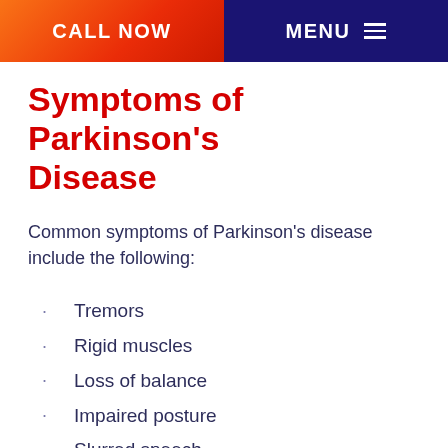CALL NOW | MENU
Symptoms of Parkinson’s Disease
Common symptoms of Parkinson’s disease include the following:
Tremors
Rigid muscles
Loss of balance
Impaired posture
Slurred speech